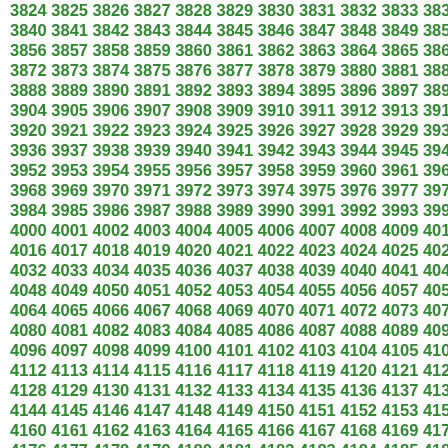3824 3825 3826 3827 3828 3829 3830 3831 3832 3833 3834 3835 3...
3840 3841 3842 3843 3844 3845 3846 3847 3848 3849 3850 3851 3...
3856 3857 3858 3859 3860 3861 3862 3863 3864 3865 3866 3867 3...
3872 3873 3874 3875 3876 3877 3878 3879 3880 3881 3882 3883 3...
3888 3889 3890 3891 3892 3893 3894 3895 3896 3897 3898 3899 3...
3904 3905 3906 3907 3908 3909 3910 3911 3912 3913 3914 3915 3...
3920 3921 3922 3923 3924 3925 3926 3927 3928 3929 3930 3931 3...
3936 3937 3938 3939 3940 3941 3942 3943 3944 3945 3946 3947 3...
3952 3953 3954 3955 3956 3957 3958 3959 3960 3961 3962 3963 3...
3968 3969 3970 3971 3972 3973 3974 3975 3976 3977 3978 3979 3...
3984 3985 3986 3987 3988 3989 3990 3991 3992 3993 3994 3995 3...
4000 4001 4002 4003 4004 4005 4006 4007 4008 4009 4010 4011 4...
4016 4017 4018 4019 4020 4021 4022 4023 4024 4025 4026 4027 4...
4032 4033 4034 4035 4036 4037 4038 4039 4040 4041 4042 4043 4...
4048 4049 4050 4051 4052 4053 4054 4055 4056 4057 4058 4059 4...
4064 4065 4066 4067 4068 4069 4070 4071 4072 4073 4074 4075 4...
4080 4081 4082 4083 4084 4085 4086 4087 4088 4089 4090 4091 4...
4096 4097 4098 4099 4100 4101 4102 4103 4104 4105 4106 4107 4...
4112 4113 4114 4115 4116 4117 4118 4119 4120 4121 4122 4123 4...
4128 4129 4130 4131 4132 4133 4134 4135 4136 4137 4138 4139 4...
4144 4145 4146 4147 4148 4149 4150 4151 4152 4153 4154 4155 4...
4160 4161 4162 4163 4164 4165 4166 4167 4168 4169 4170 4171 4...
4176 4177 4178 4179 4180 4181 4182 4183 4184 4185 4186 4187 4...